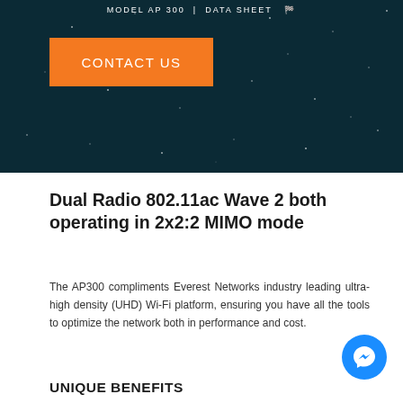MODEL AP 300 | DATA SHEET
[Figure (other): Dark teal/navy hero background with star field and orange CONTACT US button]
Dual Radio 802.11ac Wave 2 both operating in 2x2:2 MIMO mode
The AP300 compliments Everest Networks industry leading ultra-high density (UHD) Wi-Fi platform, ensuring you have all the tools to optimize the network both in performance and cost.
UNIQUE BENEFITS